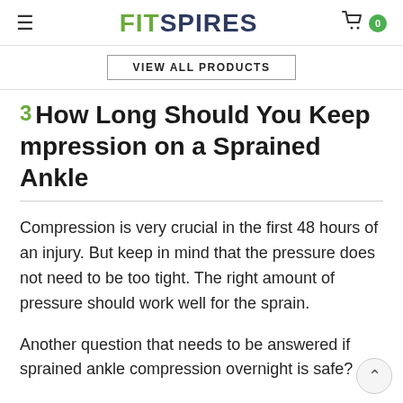FITSPIRES
VIEW ALL PRODUCTS
3  How Long Should You Keep Compression on a Sprained Ankle
Compression is very crucial in the first 48 hours of an injury. But keep in mind that the pressure does not need to be too tight. The right amount of pressure should work well for the sprain.
Another question that needs to be answered if sprained ankle compression overnight is safe?